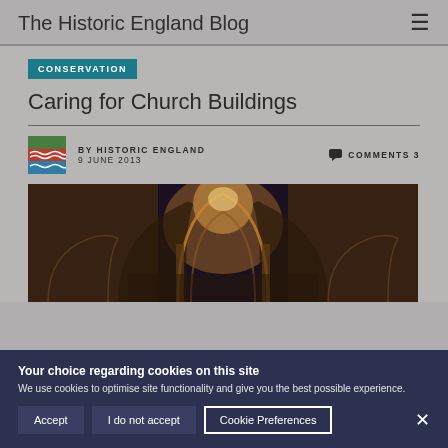The Historic England Blog
CONSERVATION
Caring for Church Buildings
BY HISTORIC ENGLAND
9 JUNE 2013
COMMENTS 3
[Figure (photo): Interior of a historic church showing gothic arched ceiling and nave]
Your choice regarding cookies on this site
We use cookies to optimise site functionality and give you the best possible experience.
Accept  I do not accept  Cookie Preferences  ×